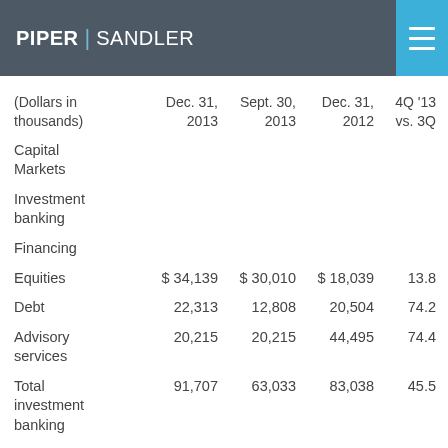PIPER | SANDLER
| (Dollars in thousands) | Dec. 31, 2013 | Sept. 30, 2013 | Dec. 31, 2012 | 4Q '13 vs. 3Q |
| --- | --- | --- | --- | --- |
| Capital Markets |  |  |  |  |
| Investment banking |  |  |  |  |
| Financing |  |  |  |  |
| Equities | $ 34,139 | $ 30,010 | $ 18,039 | 13.8 |
| Debt | 22,313 | 12,808 | 20,504 | 74.2 |
| Advisory services | 35,255 | 20,215 | 44,495 | 74.4 |
| Total investment banking | 91,707 | 63,033 | 83,038 | 45.5 |
| Institutional sales and |  |  |  |  |